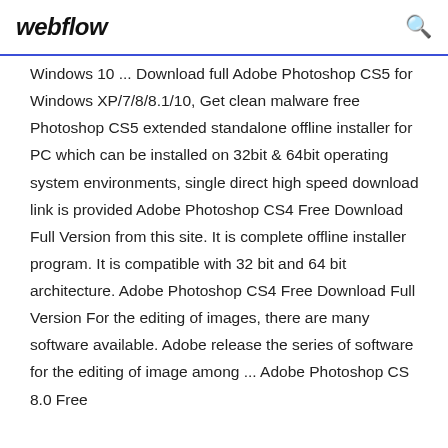webflow
Windows 10 ... Download full Adobe Photoshop CS5 for Windows XP/7/8/8.1/10, Get clean malware free Photoshop CS5 extended standalone offline installer for PC which can be installed on 32bit & 64bit operating system environments, single direct high speed download link is provided Adobe Photoshop CS4 Free Download Full Version from this site. It is complete offline installer program. It is compatible with 32 bit and 64 bit architecture. Adobe Photoshop CS4 Free Download Full Version For the editing of images, there are many software available. Adobe release the series of software for the editing of image among ... Adobe Photoshop CS 8.0 Free